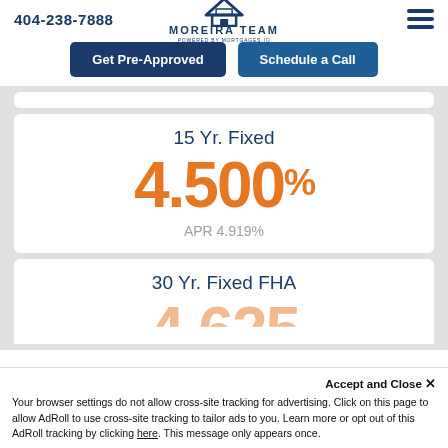404-238-7888  MOREIRA TEAM
Get Pre-Approved  Schedule a Call
15 Yr. Fixed
4.500%
APR 4.919%
30 Yr. Fixed FHA
Accept and Close ✕
Your browser settings do not allow cross-site tracking for advertising. Click on this page to allow AdRoll to use cross-site tracking to tailor ads to you. Learn more or opt out of this AdRoll tracking by clicking here. This message only appears once.